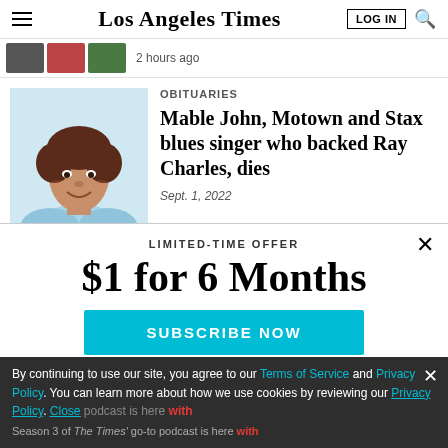Los Angeles Times
2 hours ago
OBITUARIES
Mable John, Motown and Stax blues singer who backed Ray Charles, dies
Sept. 1, 2022
LIMITED-TIME OFFER
$1 for 6 Months
SUBSCRIBE NOW
By continuing to use our site, you agree to our Terms of Service and Privacy Policy. You can learn more about how we use cookies by reviewing our Privacy Policy. Close
Season 3 of The Times' go-to podcast is here with